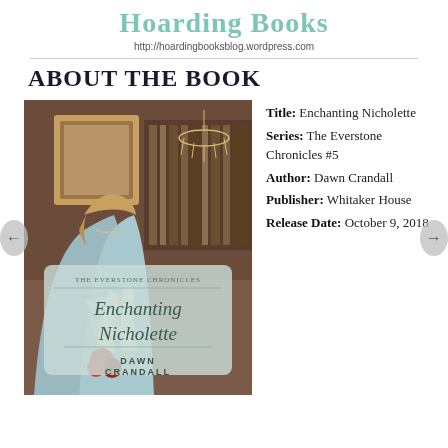Hoarding Books
http://hoardingbooksblog.wordpress.com
ABOUT THE BOOK
[Figure (photo): Book cover of 'Enchanting Nicholette' from The Everstone Chronicles series by Dawn Crandall, showing a woman in a Victorian blue dress holding flowers in an ornate library setting.]
Title: Enchanting Nicholette
Series: The Everstone Chronicles #5
Author: Dawn Crandall
Publisher: Whitaker House
Release Date: October 9, 2018